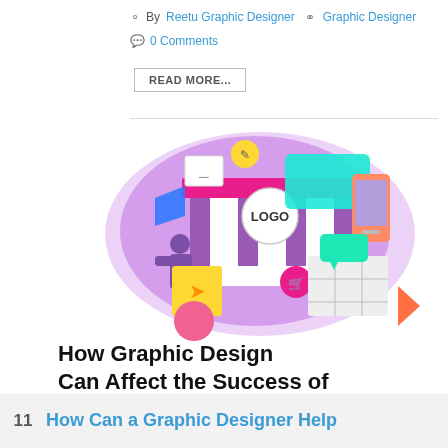By Reetu Graphic Designer  Graphic Designer  0 Comments
READ MORE...
[Figure (illustration): Colorful graphic design themed illustration showing a storefront with LOGO sign, two people handling shopping/design elements, surrounded by design icons, teal and purple background blob]
How Graphic Design Can Affect the Success of Your Business
11  How Can a Graphic Designer Help